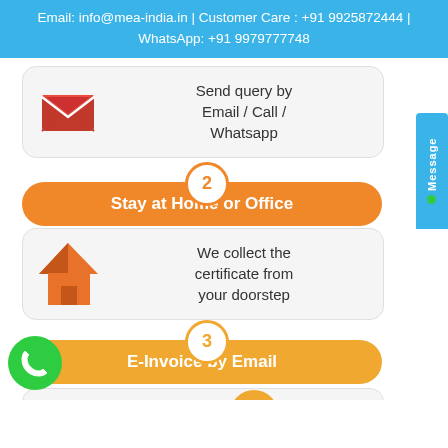Email: info@mea-india.in | Customer Care : +91 9925872444 | WhatsApp: +91 9979777748
[Figure (infographic): Step-by-step service process infographic showing: Step 1 - Send query by Email / Call / Whatsapp (with mail icon); Step 2 - Stay at Home or Office (with house icon, 'We collect the certificate from your doorstep'); Step 3 - E-Invoice by Email; Step 4 (partial) - Pay advance 50%]
Message